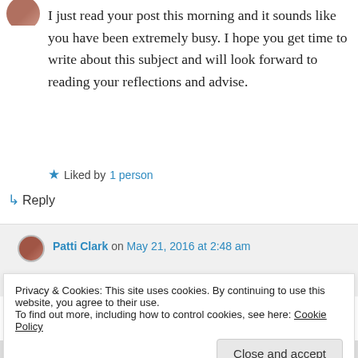[Figure (photo): Small circular avatar of a person at top left]
I just read your post this morning and it sounds like you have been extremely busy. I hope you get time to write about this subject and will look forward to reading your reflections and advise.
★ Liked by 1 person
↳ Reply
[Figure (photo): Small circular avatar of Patti Clark]
Patti Clark on May 21, 2016 at 2:48 am
Privacy & Cookies: This site uses cookies. By continuing to use this website, you agree to their use.
To find out more, including how to control cookies, see here: Cookie Policy
Close and accept